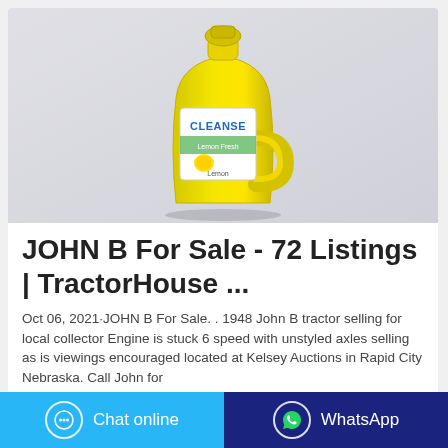[Figure (photo): Yellow plastic laundry detergent bottle (Cleanse brand, lemon scent) on a light gray background]
JOHN B For Sale - 72 Listings | TractorHouse ...
Oct 06, 2021·JOHN B For Sale. . 1948 John B tractor selling for local collector Engine is stuck 6 speed with unstyled axles selling as is viewings encouraged located at Kelsey Auctions in Rapid City Nebraska. Call John for
Chat online
WhatsApp